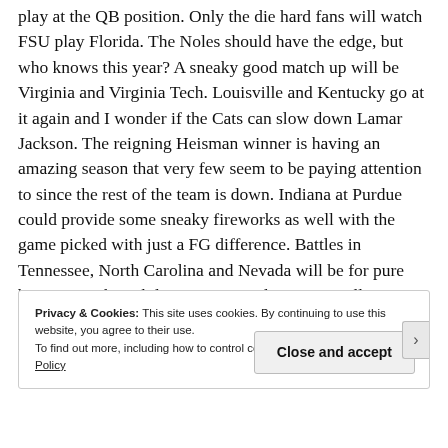play at the QB position. Only the die hard fans will watch FSU play Florida. The Noles should have the edge, but who knows this year? A sneaky good match up will be Virginia and Virginia Tech. Louisville and Kentucky go at it again and I wonder if the Cats can slow down Lamar Jackson. The reigning Heisman winner is having an amazing season that very few seem to be paying attention to since the rest of the team is down. Indiana at Purdue could provide some sneaky fireworks as well with the game picked with just a FG difference. Battles in Tennessee, North Carolina and Nevada will be for pure bragging rights while Fresno St and Boise St will meet in back to back weeks. It's next week that counts.
Privacy & Cookies: This site uses cookies. By continuing to use this website, you agree to their use. To find out more, including how to control cookies, see here: Cookie Policy